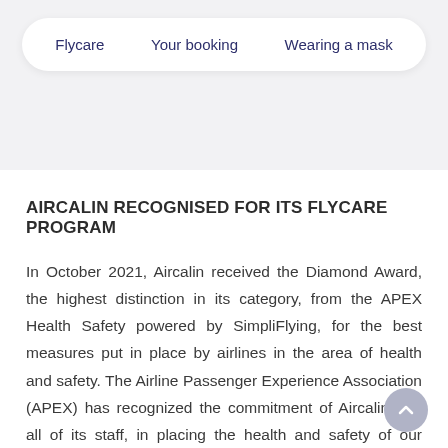Flycare  Your booking  Wearing a mask
AIRCALIN RECOGNISED FOR ITS FLYCARE PROGRAM
In October 2021, Aircalin received the Diamond Award, the highest distinction in its category, from the APEX Health Safety powered by SimpliFlying, for the best measures put in place by airlines in the area of health and safety. The Airline Passenger Experience Association (APEX) has recognized the commitment of Aircalin and all of its staff, in placing the health and safety of our customers at the heart of our priorities.